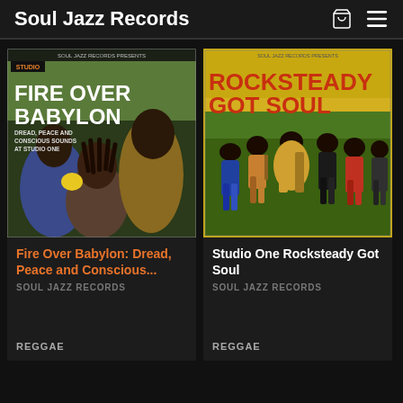Soul Jazz Records
[Figure (photo): Album cover for Fire Over Babylon: Dread, Peace and Conscious Sounds at Studio One. Shows two children with dreadlocks and a woman in a gold outfit against a green background.]
Fire Over Babylon: Dread, Peace and Conscious...
SOUL JAZZ RECORDS
REGGAE
[Figure (photo): Album cover for Studio One Rocksteady Got Soul. Shows a group of people dancing in a field with greenery. Title in large orange letters on yellow/green background.]
Studio One Rocksteady Got Soul
SOUL JAZZ RECORDS
REGGAE